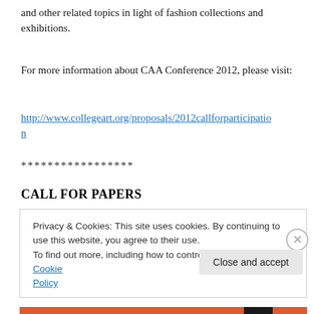and other related topics in light of fashion collections and exhibitions.
For more information about CAA Conference 2012, please visit:
http://www.collegeart.org/proposals/2012callforparticipation
*****************
CALL FOR PAPERS
Privacy & Cookies: This site uses cookies. By continuing to use this website, you agree to their use.
To find out more, including how to control cookies, see here: Cookie Policy